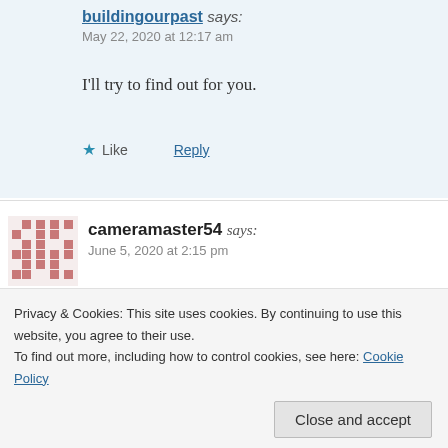[Figure (illustration): Green pixel/identicon avatar for user buildingourpast]
buildingourpast says:
May 22, 2020 at 12:17 am
I'll try to find out for you.
★ Like   Reply
[Figure (illustration): Red/salmon pixel/identicon avatar for user cameramaster54]
cameramaster54 says:
June 5, 2020 at 2:15 pm
I worked for Dunn & Co from 1968 ( 8th of August to
Privacy & Cookies: This site uses cookies. By continuing to use this website, you agree to their use.
To find out more, including how to control cookies, see here: Cookie Policy
Close and accept